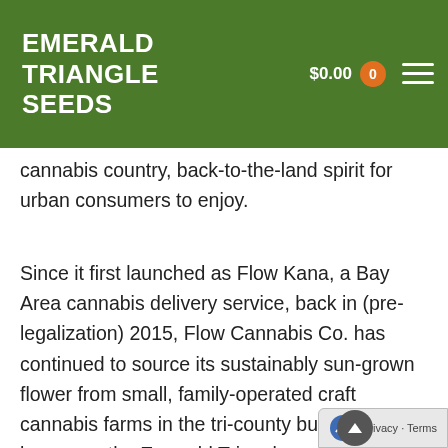EMERALD TRIANGLE SEEDS  $0.00  0
cannabis country, back-to-the-land spirit for urban consumers to enjoy.
Since it first launched as Flow Kana, a Bay Area cannabis delivery service, back in (pre-legalization) 2015, Flow Cannabis Co. has continued to source its sustainably sun-grown flower from small, family-operated craft cannabis farms in the tri-county bud basket known as the Emerald Triangle.
“They grow their cannabis in gardens next to the broccoli and the lettuce,” Flow cofounder and CEO Michael Steinmetz told 7×7 back then. It was a time when the medical cannabis industry was flourishing and everyone wanted a piece of the “green